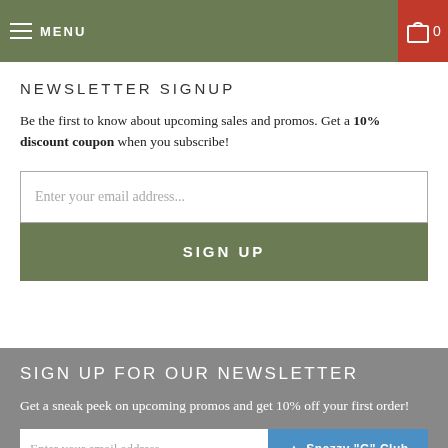MENU  0
NEWSLETTER SIGNUP
Be the first to know about upcoming sales and promos. Get a 10% discount coupon when you subscribe!
Enter your email address...
SIGN UP
SIGN UP FOR OUR NEWSLETTER
Get a sneak peek on upcoming promos and get 10% off your first order!
Enter your email address  Snazzy "G" Club